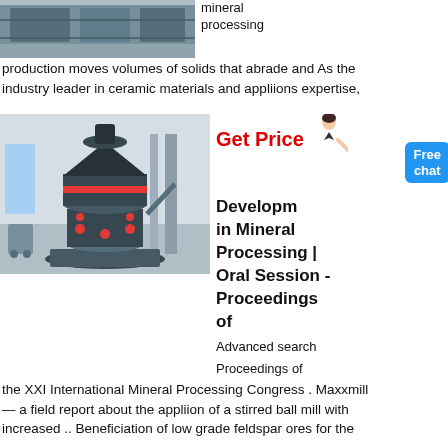[Figure (photo): Industrial facility interior, machinery/ventilation ducts, grayscale/blue tones]
mineral processing production moves volumes of solids that abrade and As the industry leader in ceramic materials and appliions expertise,
Get Price
[Figure (photo): Large industrial grinding mill machine in a warehouse/factory setting, dark colored equipment with red accents]
Developm... in Mineral Processing | Oral Session - Proceedings of
Advanced search
Proceedings of the XXI International Mineral Processing Congress . Maxxmill — a field report about the appliion of a stirred ball mill with increased .. Beneficiation of low grade feldspar ores for the